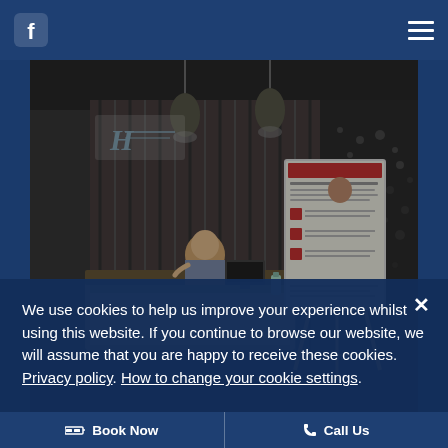[Figure (screenshot): Hotel lobby/reception area showing a reception desk with a staff member, pendant lighting, vertical wood paneling, an easel with a sign, a decorative map wall panel on the right, and a Holiday Inn Express logo on the left wall.]
We use cookies to help us improve your experience whilst using this website. If you continue to browse our website, we will assume that you are happy to receive these cookies. Privacy policy. How to change your cookie settings.
Book Now   Call Us